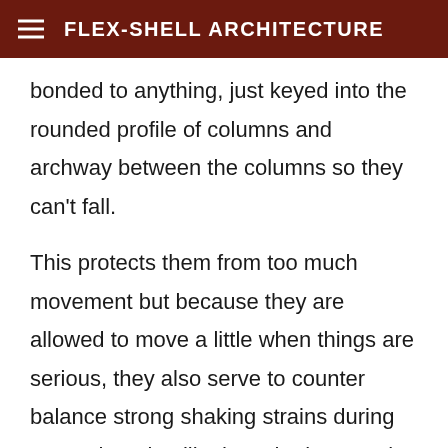FLEX-SHELL ARCHITECTURE
bonded to anything, just keyed into the rounded profile of columns and archway between the columns so they can't fall.
This protects them from too much movement but because they are allowed to move a little when things are serious, they also serve to counter balance strong shaking strains during an earthquake, like how the loose pole in the center of Japanese Pagodas do. That integral tapered stress-